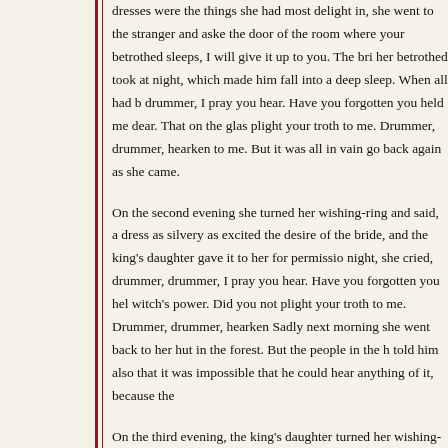dresses were the things she had most delight in, she went to the stranger and aske the door of the room where your betrothed sleeps, I will give it up to you. The bri her betrothed took at night, which made him fall into a deep sleep. When all had b drummer, I pray you hear. Have you forgotten you held me dear. That on the glas plight your troth to me. Drummer, drummer, hearken to me. But it was all in vain go back again as she came.

On the second evening she turned her wishing-ring and said, a dress as silvery as excited the desire of the bride, and the king's daughter gave it to her for permissio night, she cried, drummer, drummer, I pray you hear. Have you forgotten you hel witch's power. Did you not plight your troth to me. Drummer, drummer, hearken Sadly next morning she went back to her hut in the forest. But the people in the h told him also that it was impossible that he could hear anything of it, because the

On the third evening, the king's daughter turned her wishing-ring, and said, a dre beside herself with the splendor of the dress, which far surpassed the others, and s to spend the night outside the bridegroom's door. The bridegroom, however, did n and when everything was quiet, he heard a sweet voice which called to him, drun mountain we sat hour by hour. That I rescued your life from the witch's power. Di returned to him.

Ah, cried he, how can I have acted so unfaithfully. But the kiss which it all. That is what stupefied me. He sprang up, took the king's daugh marry the other, I shall do a great wrong. The parents, when they hea were lighted again, drums and trumpets were brought, friends and rel